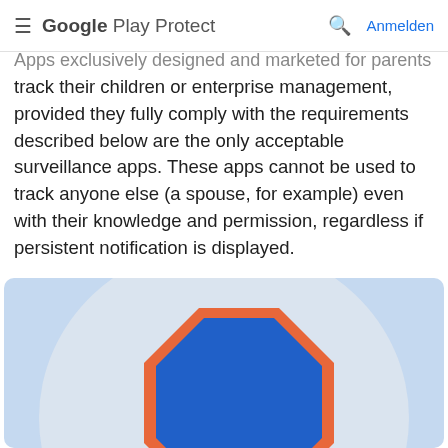≡ Google Play Protect  🔍  Anmelden
Apps exclusively designed and marketed for parents to track their children or enterprise management, provided they fully comply with the requirements described below are the only acceptable surveillance apps. These apps cannot be used to track anyone else (a spouse, for example) even with their knowledge and permission, regardless if persistent notification is displayed.
[Figure (illustration): Blue light background with a partially visible blue octagonal stop-sign shaped icon with orange border, containing white text 'DoS' at the bottom, set within a light grey circle.]